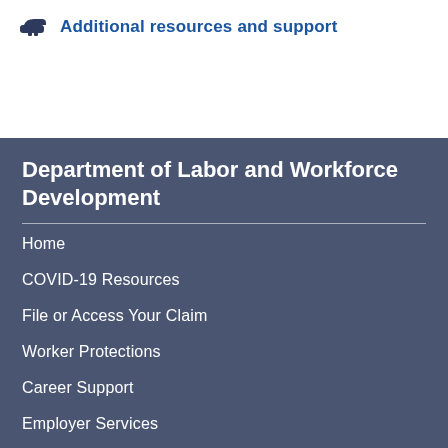Additional resources and support
Department of Labor and Workforce Development
Home
COVID-19 Resources
File or Access Your Claim
Worker Protections
Career Support
Employer Services
Research & Information